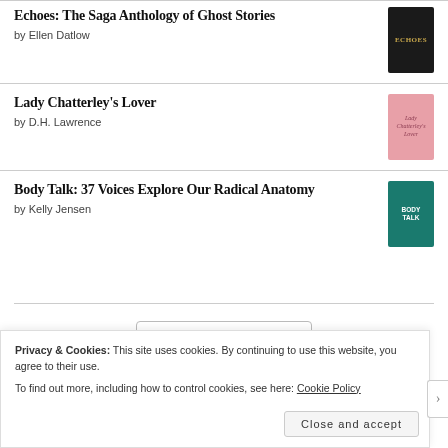[Figure (illustration): Partial red book cover visible at top right]
Echoes: The Saga Anthology of Ghost Stories by Ellen Datlow
Lady Chatterley's Lover by D.H. Lawrence
Body Talk: 37 Voices Explore Our Radical Anatomy by Kelly Jensen
[Figure (logo): Goodreads logo in a rounded rectangle box]
Privacy & Cookies: This site uses cookies. By continuing to use this website, you agree to their use.
To find out more, including how to control cookies, see here: Cookie Policy
Close and accept